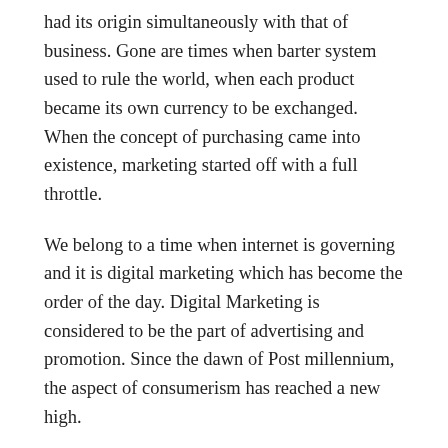had its origin simultaneously with that of business. Gone are times when barter system used to rule the world, when each product became its own currency to be exchanged. When the concept of purchasing came into existence, marketing started off with a full throttle.
We belong to a time when internet is governing and it is digital marketing which has become the order of the day. Digital Marketing is considered to be the part of advertising and promotion. Since the dawn of Post millennium, the aspect of consumerism has reached a new high.
The entrepreneurs across the world are taking a stand not only in the physical world but the virtual world as well. Through the aspect of online promotion, these entrepreneurs are making their presence felt breaking every barriers and beyond every boundaries.